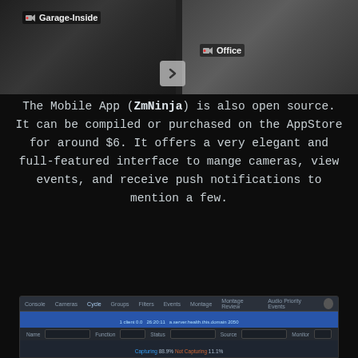[Figure (screenshot): Security camera interface showing two camera feeds labeled 'Garage-Inside' and 'Office', with a navigation arrow button between them.]
The Mobile App (ZmNinja) is also open source. It can be compiled or purchased on the AppStore for around $6. It offers a very elegant and full-featured interface to mange cameras, view events, and receive push notifications to mention a few.
[Figure (screenshot): ZoneMinder web interface showing camera management panel with filters, capture status (Capturing 88.9%, Not Capturing 11.1%), action buttons (Add, Edit, Delete, Select), and column headers (Function, Events, Hour, Day, Week, Month, Archived).]